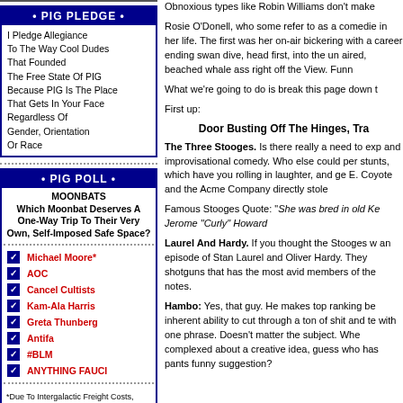PIG PLEDGE
I Pledge Allegiance
To The Way Cool Dudes
That Founded
The Free State Of PIG
Because PIG Is The Place
That Gets In Your Face
Regardless Of
Gender, Orientation
Or Race
PIG POLL
MOONBATS
Which Moonbat Deserves A One-Way Trip To Their Very Own, Self-Imposed Safe Space?
Michael Moore*
AOC
Cancel Cultists
Kam-Ala Harris
Greta Thunberg
Antifa
#BLM
ANYTHING FAUCI
*Due To Intergalactic Freight Costs, Tonage, Limited Food & Oxygen Supply, Michael Moore Counts As Two Votes.
Obnoxious types like Robin Williams don't make
Rosie O'Donell, who some refer to as a comedie in her life. The first was her on-air bickering with a career ending swan dive, head first, into the un aired, beached whale ass right off the View. Funn
What we're going to do is break this page down t
First up:
Door Busting Off The Hinges, Tra
The Three Stooges. Is there really a need to exp and improvisational comedy. Who else could per stunts, which have you rolling in laughter, and ge E. Coyote and the Acme Company directly stole
Famous Stooges Quote: "She was bred in old Ke Jerome "Curly" Howard
Laurel And Hardy. If you thought the Stooges w an episode of Stan Laurel and Oliver Hardy. They shotguns that has the most avid members of the notes.
Hambo: Yes, that guy. He makes top ranking be inherent ability to cut through a ton of shit and te with one phrase. Doesn't matter the subject. Whe complexed about a creative idea, guess who has pants funny suggestion?